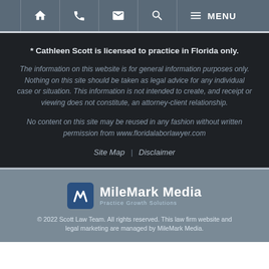[Figure (screenshot): Navigation bar with icons: home, phone, email, search, and MENU]
* Cathleen Scott is licensed to practice in Florida only.
The information on this website is for general information purposes only. Nothing on this site should be taken as legal advice for any individual case or situation. This information is not intended to create, and receipt or viewing does not constitute, an attorney-client relationship.
No content on this site may be reused in any fashion without written permission from www.floridalaborlawyer.com
Site Map | Disclaimer
[Figure (logo): MileMark Media logo with blue icon and text 'MileMark Media, Practice Growth Solutions']
© 2022 Scott Law Team. All rights reserved. This law firm website and legal marketing are managed by MileMark Media.